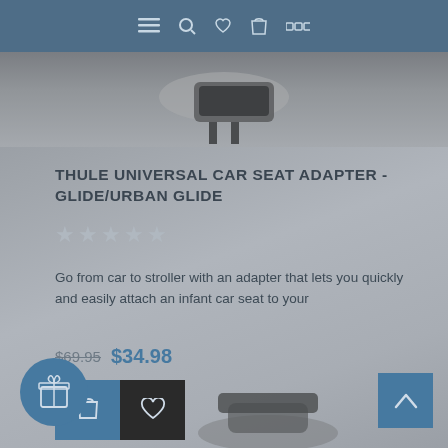Navigation bar with menu, search, wishlist, cart, and grid icons
[Figure (photo): Top portion of a Thule car seat adapter product photo, showing a dark stroller adapter component]
THULE UNIVERSAL CAR SEAT ADAPTER - GLIDE/URBAN GLIDE
★★★★★
Go from car to stroller with an adapter that lets you quickly and easily attach an infant car seat to your
$69.95  $34.98
Add to cart button and wishlist button
[Figure (illustration): Blue circular gift icon button]
[Figure (photo): Partial bottom product image showing stroller components]
Scroll to top arrow button